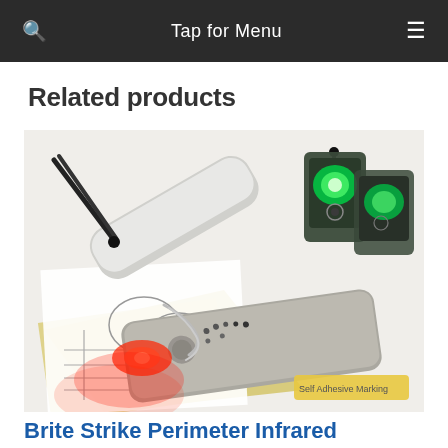Tap for Menu
Related products
[Figure (photo): Product photo showing Brite Strike Perimeter Infrared security components: infrared LED sensors with green light glow, a metallic controller/transmitter unit with red indicator light, fiber optic cable loops, yellow self-adhesive backing sheet, and black cables/antennas on a white background.]
Brite Strike Perimeter Infrared